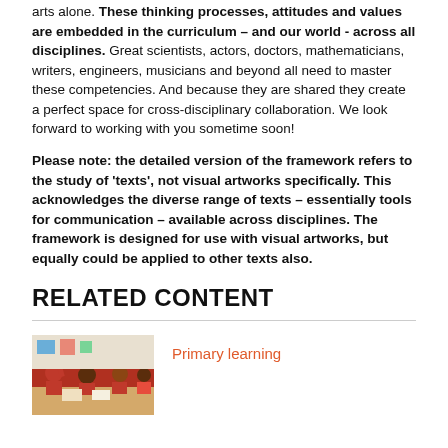arts alone. These thinking processes, attitudes and values are embedded in the curriculum – and our world - across all disciplines. Great scientists, actors, doctors, mathematicians, writers, engineers, musicians and beyond all need to master these competencies. And because they are shared they create a perfect space for cross-disciplinary collaboration. We look forward to working with you sometime soon!
Please note: the detailed version of the framework refers to the study of 'texts', not visual artworks specifically. This acknowledges the diverse range of texts – essentially tools for communication – available across disciplines. The framework is designed for use with visual artworks, but equally could be applied to other texts also.
RELATED CONTENT
[Figure (photo): Photo of children in red clothes sitting around a table in a classroom, one child raising their hand]
Primary learning